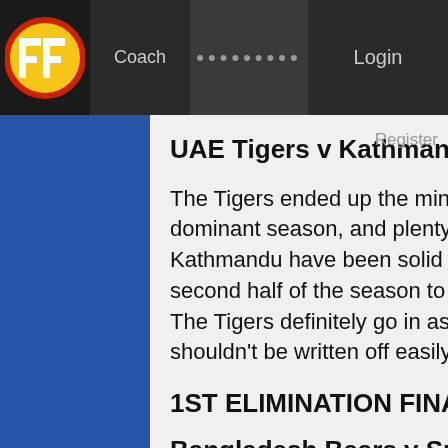Coach ......... Login
UAE Tigers v Kathmandu Eskimos
The Tigers ended up the minor premiers after a dominant season, and plenty of depth in their squad. Kathmandu have been solid performers, with a good second half of the season to shore up a top 4 position. The Tigers definitely go in as favourites, but Kathmandu shouldn't be written off easily.
1ST ELIMINATION FINAL
Bangladesh Bears v Sri Lanka